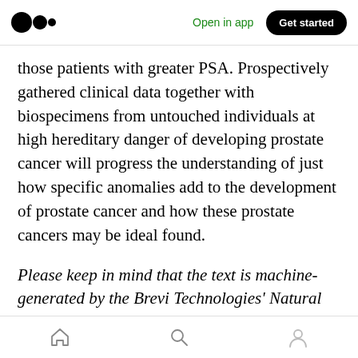Medium logo | Open in app | Get started
those patients with greater PSA. Prospectively gathered clinical data together with biospecimens from untouched individuals at high hereditary danger of developing prostate cancer will progress the understanding of just how specific anomalies add to the development of prostate cancer and how these prostate cancers may be ideal found.
Please keep in mind that the text is machine-generated by the Brevi Technologies' Natural language Generation model, and we do not bear
Home | Search | Profile